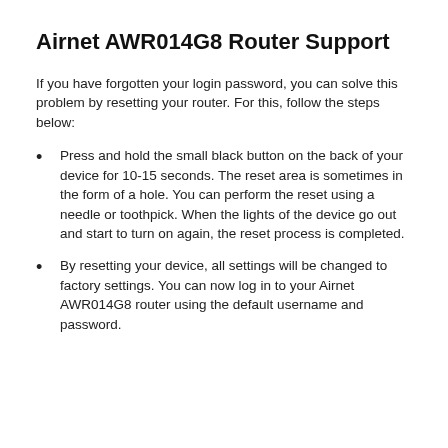Airnet AWR014G8 Router Support
If you have forgotten your login password, you can solve this problem by resetting your router. For this, follow the steps below:
Press and hold the small black button on the back of your device for 10-15 seconds. The reset area is sometimes in the form of a hole. You can perform the reset using a needle or toothpick. When the lights of the device go out and start to turn on again, the reset process is completed.
By resetting your device, all settings will be changed to factory settings. You can now log in to your Airnet AWR014G8 router using the default username and password.